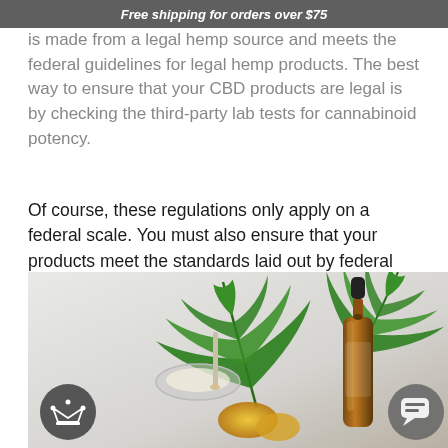Free shipping for orders over $75
is made from a legal hemp source and meets the federal guidelines for legal hemp products. The best way to ensure that your CBD products are legal is by checking the third-party lab tests for cannabinoid potency.
Of course, these regulations only apply on a federal scale. You must also ensure that your products meet the standards laid out by federal guidelines and those set by your state.
[Figure (photo): Flat lay photo of cannabis/hemp leaves, amber dropper bottle, glass dish with CBD oil, on a light grey background. Two circular UI buttons visible: a crown icon on the left and a chat icon on the right.]